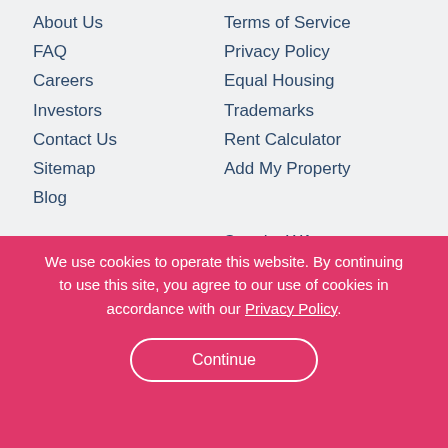About Us
FAQ
Careers
Investors
Contact Us
Sitemap
Blog
Terms of Service
Privacy Policy
Equal Housing
Trademarks
Rent Calculator
Add My Property
New York City, NY
Chicago, IL
San Diego, CA
Los Angeles, CA
Miami, FL
Las Vegas, NV
Seattle, WA
Sacramento, CA
San Francisco, CA
Boston, MA
Philadelphia, PA
Houston, TX
We use cookies to operate this website. By continuing to use this site, you agree to our use of cookies in accordance with our Privacy Policy.